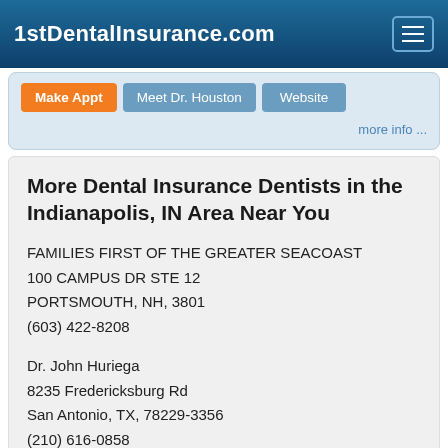1stDentalInsurance.com
Make Appt | Meet Dr. Houston | Website | more info ...
More Dental Insurance Dentists in the Indianapolis, IN Area Near You
FAMILIES FIRST OF THE GREATER SEACOAST
100 CAMPUS DR STE 12
PORTSMOUTH, NH, 3801
(603) 422-8208
Dr. John Huriega
8235 Fredericksburg Rd
San Antonio, TX, 78229-3356
(210) 616-0858
Doctor - Activate Your Free